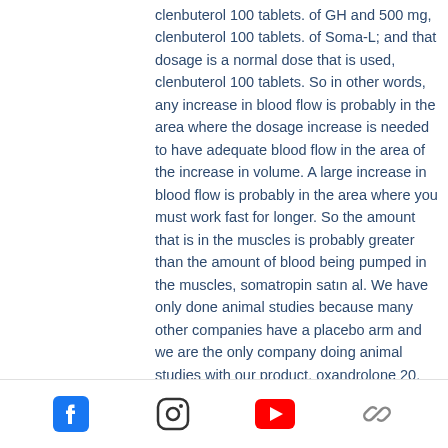clenbuterol 100 tablets. of GH and 500 mg, clenbuterol 100 tablets. of Soma-L; and that dosage is a normal dose that is used, clenbuterol 100 tablets. So in other words, any increase in blood flow is probably in the area where the dosage increase is needed to have adequate blood flow in the area of the increase in volume. A large increase in blood flow is probably in the area where you must work fast for longer. So the amount that is in the muscles is probably greater than the amount of blood being pumped in the muscles, somatropin satın al. We have only done animal studies because many other companies have a placebo arm and we are the only company doing animal studies with our product, oxandrolone 20. So that's where we are; and that's what the FDA wants us to do. There are certainly side effects, mk-2866
Social media icons: Facebook, Instagram, YouTube, Link